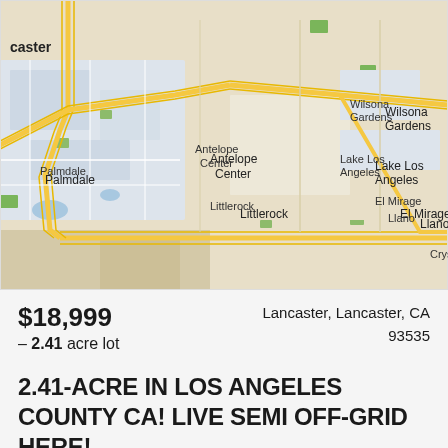[Figure (map): Google Maps style map showing Palmdale, Lancaster area in California including Wilsona Gardens, Lake Los Angeles, El Mirage, Antelope Center, Littlerock, Llano, Crystalaire with yellow highway routes]
$18,999
– 2.41 acre lot
Lancaster, Lancaster, CA 93535
2.41-ACRE IN LOS ANGELES COUNTY CA! LIVE SEMI OFF-GRID HERE!
2.41 acres in Los Angeles County CA! Live Semi Off-